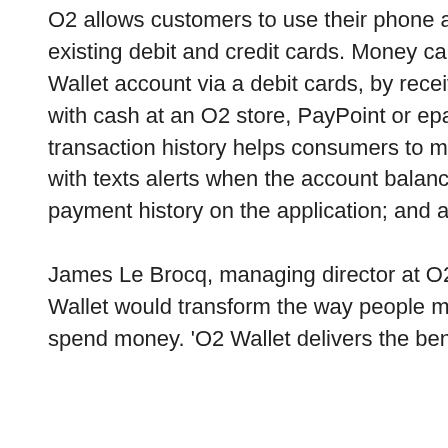O2 allows customers to use their phone as a wallet to digitise their existing debit and credit cards. Money can be loaded into the O2 Wallet account via a debit cards, by receiving a money message or with cash at an O2 store, PayPoint or epay retail outlet. O2 Wallet's transaction history helps consumers to monitor their expenditure with texts alerts when the account balance changes; a 30 day payment history on the application; and a 12 month history online.
James Le Brocq, managing director at O2 Money, said the O2 Wallet would transform the way people manage their finances and spend money. 'O2 Wallet delivers the benefits of mobile money to